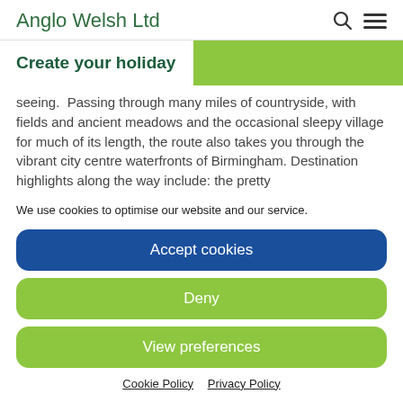Anglo Welsh Ltd
Create your holiday
seeing.  Passing through many miles of countryside, with fields and ancient meadows and the occasional sleepy village for much of its length, the route also takes you through the vibrant city centre waterfronts of Birmingham. Destination highlights along the way include: the pretty
We use cookies to optimise our website and our service.
Accept cookies
Deny
View preferences
Cookie Policy   Privacy Policy